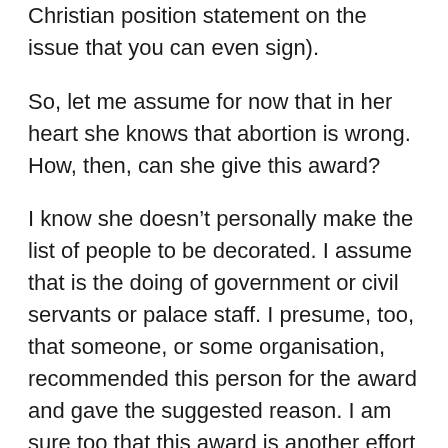Christian position statement on the issue that you can even sign).
So, let me assume for now that in her heart she knows that abortion is wrong. How, then, can she give this award?
I know she doesn't personally make the list of people to be decorated. I assume that is the doing of government or civil servants or palace staff. I presume, too, that someone, or some organisation, recommended this person for the award and gave the suggested reason. I am sure too that this award is another effort to teach those of us who think killing unborn children is wrong that we are out of date and lacking in compassion. That it